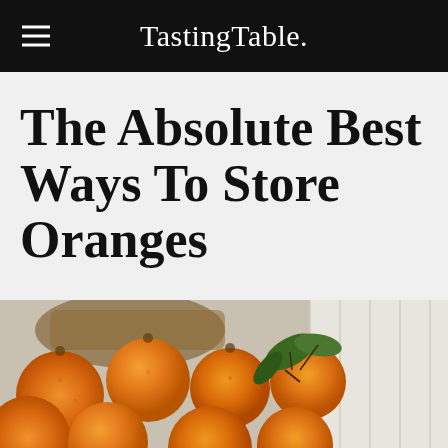TastingTable.
The Absolute Best Ways To Store Oranges
[Figure (photo): A basket of fresh oranges spilling out onto a white wooden surface, some with green leaves attached, photographed from above.]